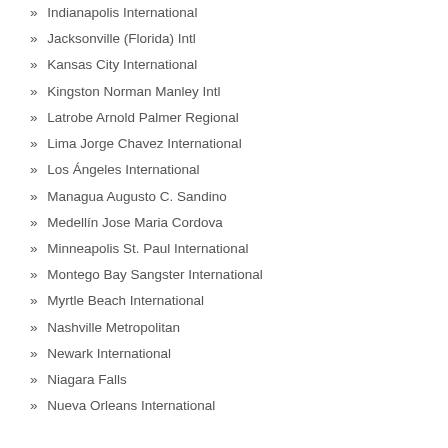» Indianapolis International
» Jacksonville (Florida) Intl
» Kansas City International
» Kingston Norman Manley Intl
» Latrobe Arnold Palmer Regional
» Lima Jorge Chavez International
» Los Ángeles International
» Managua Augusto C. Sandino
» Medellín Jose Maria Cordova
» Minneapolis St. Paul International
» Montego Bay Sangster International
» Myrtle Beach International
» Nashville Metropolitan
» Newark International
» Niagara Falls
» Nueva Orleans International